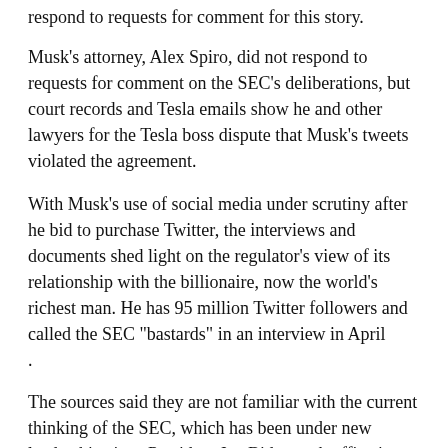respond to requests for comment for this story.
Musk's attorney, Alex Spiro, did not respond to requests for comment on the SEC's deliberations, but court records and Tesla emails show he and other lawyers for the Tesla boss dispute that Musk's tweets violated the agreement.
With Musk's use of social media under scrutiny after he bid to purchase Twitter, the interviews and documents shed light on the regulator's view of its relationship with the billionaire, now the world's richest man. He has 95 million Twitter followers and called the SEC "bastards" in an interview in April .
The sources said they are not familiar with the current thinking of the SEC, which has been under new leadership since President Joe Biden took office in January 2021. Under new Chair, Gary Gensler, the agency has pledged to crack down on repeated misconduct and push for tougher penalties.